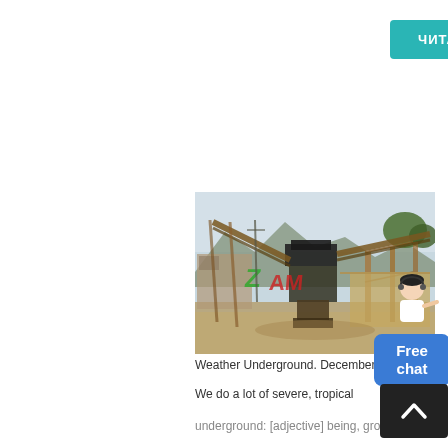ЧИТАТЬ ДАЛЕЕ
[Figure (photo): Industrial mining/crushing equipment set up outdoors, with conveyor belts, a central crusher machine, scaffolding structures, and muddy/flooded ground. Mountains and trees visible in background. Watermark text 'AMC' visible in green and red.]
Weather Underground. December 31, 2020 :
We do a lot of severe, tropical
underground: [adjective] being, growing
[Figure (illustration): Sidebar with a woman figure (customer support avatar) and a blue 'Free chat' button, plus a dark back-to-top arrow button.]